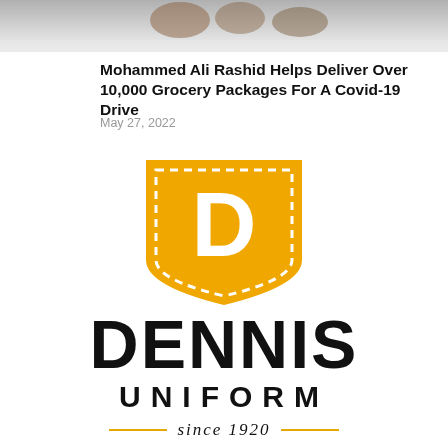[Figure (photo): Cropped photo strip at top of page showing people in winter scene]
Mohammed Ali Rashid Helps Deliver Over 10,000 Grocery Packages For A Covid-19 Drive
May 27, 2022
[Figure (logo): Dennis Uniform logo: golden shield/badge shape with dashed border outline and white letter D in center, with text DENNIS UNIFORM — since 1920 — below]